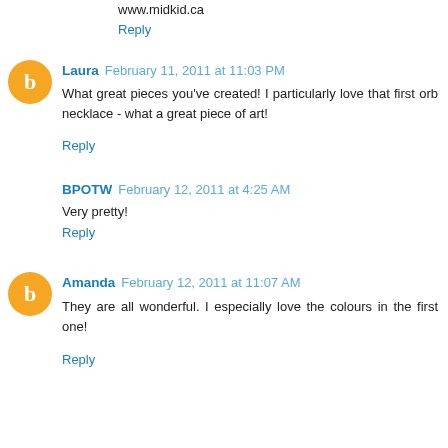www.midkid.ca
Reply
Laura  February 11, 2011 at 11:03 PM
What great pieces you've created! I particularly love that first orb necklace - what a great piece of art!
Reply
BPOTW  February 12, 2011 at 4:25 AM
Very pretty!
Reply
Amanda  February 12, 2011 at 11:07 AM
They are all wonderful. I especially love the colours in the first one!
Reply